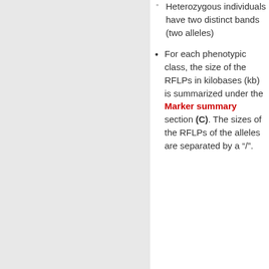Heterozygous individuals have two distinct bands (two alleles)
For each phenotypic class, the size of the RFLPs in kilobases (kb) is summarized under the Marker summary section (C). The sizes of the RFLPs of the alleles are separated by a "/".